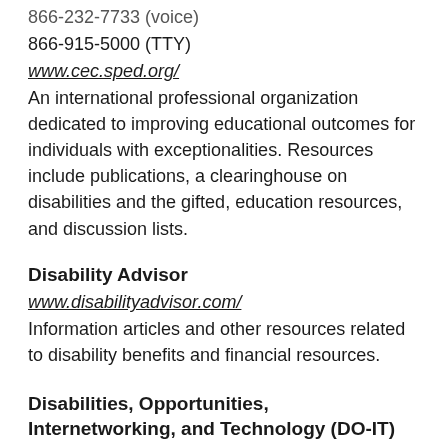866-232-7733 (voice)
866-915-5000 (TTY)
www.cec.sped.org/
An international professional organization dedicated to improving educational outcomes for individuals with exceptionalities. Resources include publications, a clearinghouse on disabilities and the gifted, education resources, and discussion lists.
Disability Advisor
www.disabilityadvisor.com/
Information articles and other resources related to disability benefits and financial resources.
Disabilities, Opportunities, Internetworking, and Technology (DO-IT)
206-685-DOIT (voice/TTY)
888-972-3648 (voice)
509-328-9331 (voice)
www.uw.edu/doit/